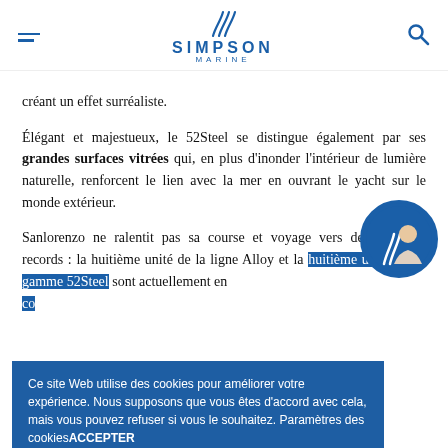Simpson Marine
créant un effet surréaliste.
Élégant et majestueux, le 52Steel se distingue également par ses grandes surfaces vitrées qui, en plus d'inonder l'intérieur de lumière naturelle, renforcent le lien avec la mer en ouvrant le yacht sur le monde extérieur.
Sanlorenzo ne ralentit pas sa course et voyage vers de nouveaux records : la huitième unité de la ligne Alloy et la huitième unité de la gamme 52Steel sont actuellement en co
Ce site Web utilise des cookies pour améliorer votre expérience. Nous supposons que vous êtes d'accord avec cela, mais vous pouvez refuser si vous le souhaitez. Paramètres des cookiesACCEPTER
pour vous et vos besoins, veuillez contacter n
dédiée à l'adresse sanlorenzo... snmarine.com